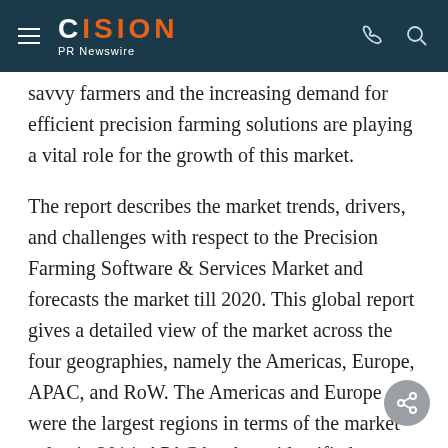CISION PR Newswire
savvy farmers and the increasing demand for efficient precision farming solutions are playing a vital role for the growth of this market.
The report describes the market trends, drivers, and challenges with respect to the Precision Farming Software & Services Market and forecasts the market till 2020. This global report gives a detailed view of the market across the four geographies, namely the Americas, Europe, APAC, and RoW. The Americas and Europe were the largest regions in terms of the market value in 2014. APAC has been identified as fastest-growing region, with India leading the way;